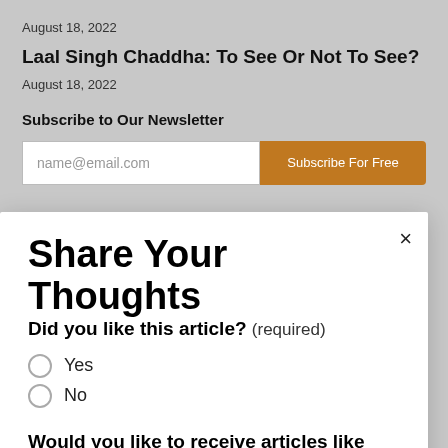August 18, 2022
Laal Singh Chaddha: To See Or Not To See?
August 18, 2022
Subscribe to Our Newsletter
[Figure (screenshot): Email input field with placeholder 'name@email.com' and orange 'Subscribe For Free' button]
Share Your Thoughts
Did you like this article? (required)
Yes
No
Would you like to receive articles like this in your inbox? (required)